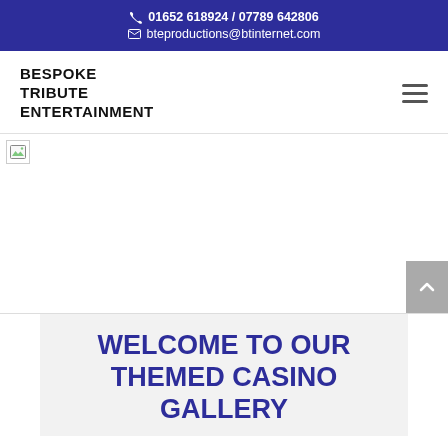01652 618924 / 07789 642806 | bteproductions@btinternet.com
BESPOKE TRIBUTE ENTERTAINMENT
[Figure (screenshot): Broken/missing image placeholder covering the hero banner area of the website]
WELCOME TO OUR THEMED CASINO GALLERY